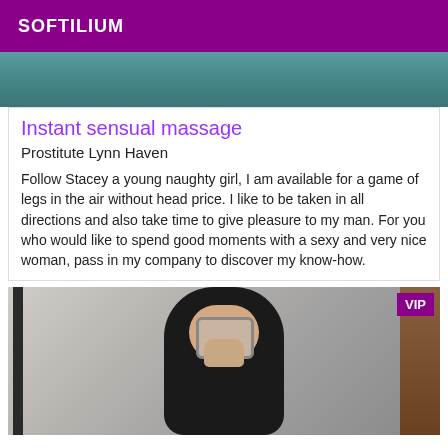SOFTILIUM
[Figure (photo): Top portion of a photo showing teal/dark background, cropped]
Instant sensual massage
Prostitute Lynn Haven
Follow Stacey a young naughty girl, I am available for a game of legs in the air without head price. I like to be taken in all directions and also take time to give pleasure to my man. For you who would like to spend good moments with a sexy and very nice woman, pass in my company to discover my know-how.
[Figure (photo): Woman with dark hair holding a phone taking a selfie in a mirror, with VIP badge in top right corner]